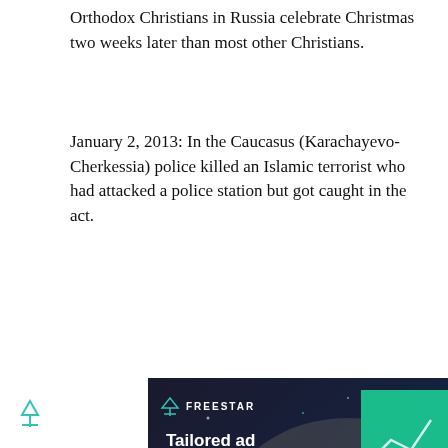Orthodox Christians in Russia celebrate Christmas two weeks later than most other Christians.
January 2, 2013: In the Caucasus (Karachayevo-Cherkessia) police killed an Islamic terrorist who had attacked a police station but got caught in the act.
[Figure (other): Freestar advertisement banner. Dark background with illustration of person using phone and robot. Text reads: 'Tailored ad management solutions for every publisher' with a teal LEARN MORE button and Freestar logo.]